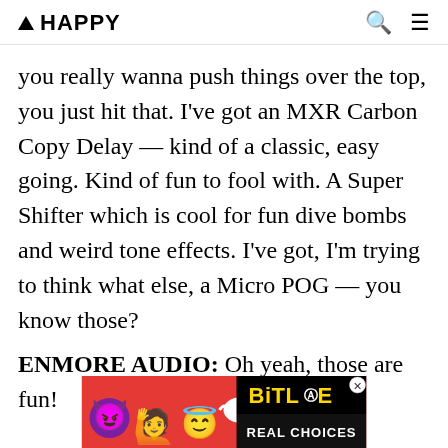▲ HAPPY
you really wanna push things over the top, you just hit that. I've got an MXR Carbon Copy Delay — kind of a classic, easy going. Kind of fun to fool with. A Super Shifter which is cool for fun dive bombs and weird tone effects. I've got, I'm trying to think what else, a Micro POG — you know those?
ENMORE AUDIO: Oh yeah, those are fun!
[Figure (other): BitLife 'Real Choices' advertisement banner with cartoon emoji characters (devil, person, angel emoji) on a red background and black panel with yellow BitLife logo text]